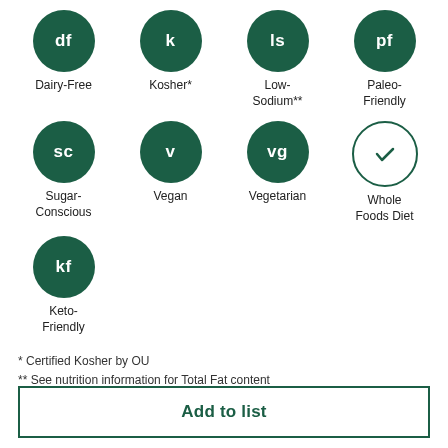[Figure (infographic): Grid of dietary icons: row 1: df Dairy-Free, k Kosher*, ls Low-Sodium**, pf Paleo-Friendly; row 2: sc Sugar-Conscious, v Vegan, vg Vegetarian, checkmark Whole Foods Diet; row 3: kf Keto-Friendly]
* Certified Kosher by OU
** See nutrition information for Total Fat content
You may also like
Add to list